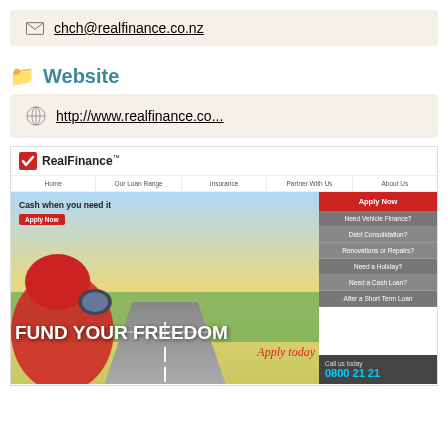chch@realfinance.co.nz
Website
http://www.realfinance.co...
[Figure (screenshot): Screenshot of RealFinance website homepage showing logo, navigation bar with Home, Our Loan Range, Insurance, Partner With Us, About Us, a banner image with red car on highway, text 'Cash when you need it', 'FUND YOUR FREEDOM Apply today', sidebar with Apply Now, Need Vehicle Finance?, Debt Consolidation?, Renovations or Repairs?, Need a Holiday?, Need a Cash Loan?, After a Short Term Loan, and Call us today 0800 21 21]